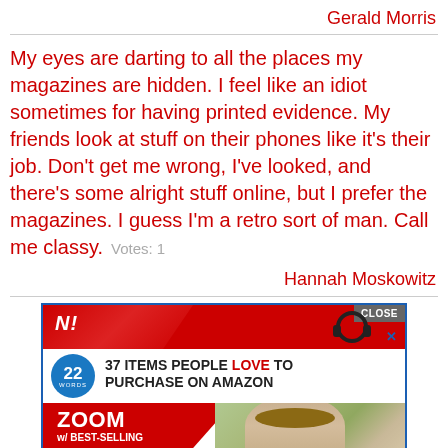Gerald Morris
My eyes are darting to all the places my magazines are hidden. I feel like an idiot sometimes for having printed evidence. My friends look at stuff on their phones like it's their job. Don't get me wrong, I've looked, and there's some alright stuff online, but I prefer the magazines. I guess I'm a retro sort of man. Call me classy.   Votes: 1
Hannah Moskowitz
[Figure (screenshot): Advertisement banner showing '37 ITEMS PEOPLE LOVE TO PURCHASE ON AMAZON' with 22 Words logo badge, headphones image, CLOSE button, and a ZOOM w/ BEST-SELLING section with a woman's photo]